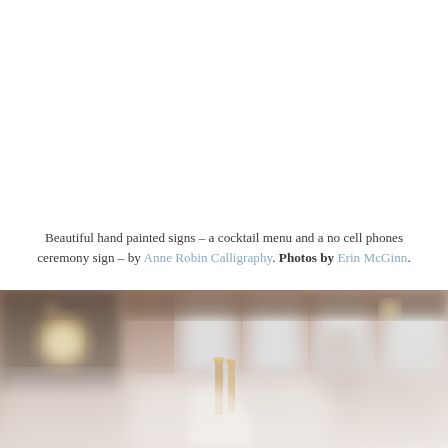Beautiful hand painted signs – a cocktail menu and a no cell phones ceremony sign – by Anne Robin Calligraphy. Photos by Erin McGinn.
[Figure (photo): Blurred interior venue photo showing warm string lights, large windows with natural light, and figures in the foreground with what appears to be gold decorative items on a white table.]